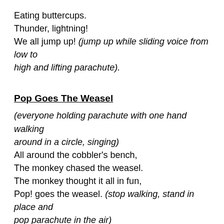Eating buttercups.
Thunder, lightning!
We all jump up! (jump up while sliding voice from low to high and lifting parachute).
Pop Goes The Weasel
(everyone holding parachute with one hand walking around in a circle, singing)
All around the cobbler's bench,
The monkey chased the weasel.
The monkey thought it all in fun,
Pop! goes the weasel. (stop walking, stand in place and pop parachute in the air)
(everyone holding parachute with one hand walking